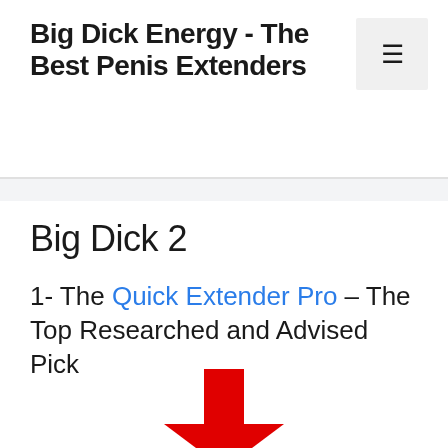Big Dick Energy - The Best Penis Extenders
Big Dick 2
1- The Quick Extender Pro – The Top Researched and Advised Pick
[Figure (illustration): Red downward arrow icon]